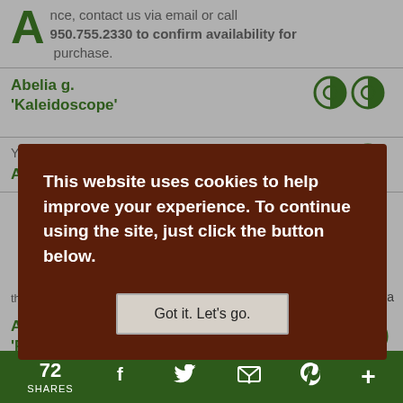contact us via email or call 950.755.2330 to confirm availability for purchase.
Abelia g. 'Kaleidoscope'
You can search this comprehensive list
Abelia g.
This website uses cookies to help improve your experience. To continue using the site, just click the button below.
Got it. Let's go.
the Bay area, we recognize that what we're growing may never be enough.
Acacia b. 'Purpurea'
As both a plant grower and plant broker,
72 SHARES
[Figure (screenshot): Cookie consent overlay on a plant nursery website listing page showing plant names Abelia g. Kaleidoscope and Acacia b. Purpurea with green half-circle icons, a dark brown cookie notice popup, and a green social sharing footer bar]